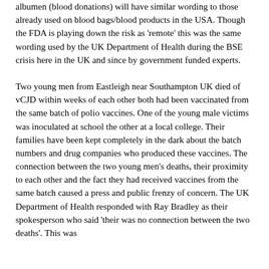albumen (blood donations) will have similar wording to those already used on blood bags/blood products in the USA. Though the FDA is playing down the risk as 'remote' this was the same wording used by the UK Department of Health during the BSE crisis here in the UK and since by government funded experts.
Two young men from Eastleigh near Southampton UK died of vCJD within weeks of each other both had been vaccinated from the same batch of polio vaccines. One of the young male victims was inoculated at school the other at a local college. Their families have been kept completely in the dark about the batch numbers and drug companies who produced these vaccines. The connection between the two young men's deaths, their proximity to each other and the fact they had received vaccines from the same batch caused a press and public frenzy of concern. The UK Department of Health responded with Ray Bradley as their spokesperson who said 'their was no connection between the two deaths'. This was